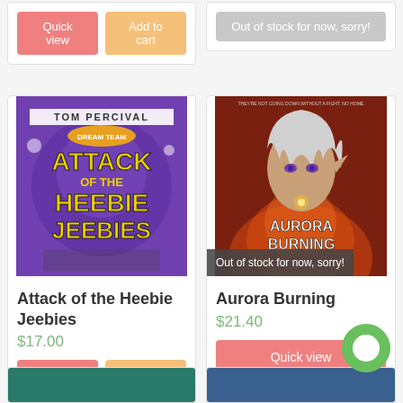[Figure (screenshot): Top partial product card (left) showing Quick view and Add to cart buttons]
[Figure (screenshot): Top partial product card (right) showing Out of stock for now, sorry! button]
[Figure (photo): Book cover: Attack of the Heebie Jeebies by Tom Percival, Dream Team series. Purple background with yellow title text and cartoon characters.]
Attack of the Heebie Jeebies
$17.00
[Figure (screenshot): Quick view and Add to cart buttons for Attack of the Heebie Jeebies]
[Figure (photo): Book cover: Aurora Burning. Fantasy illustration of an elf-like character with silver hair and glowing background.]
Out of stock for now, sorry!
Aurora Burning
$21.40
[Figure (screenshot): Quick view button and Out of stock for now button for Aurora Burning, with green chat circle icon overlapping]
[Figure (screenshot): Bottom partial card left with teal/green banner]
[Figure (screenshot): Bottom partial card right with blue banner]